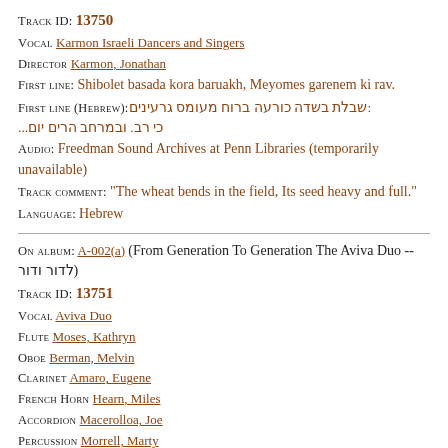Track ID: 13750
Vocal Karmon Israeli Dancers and Singers
Director Karmon, Jonathan
First line: Shibolet basada kora baruakh, Meyomes garenem ki rav.
First line (Hebrew): שבלת בשדה כורעה ברוח מעומס גרעינים:...כי רב. ובמרחב הרים יום
Audio: Freedman Sound Archives at Penn Libraries (temporarily unavailable)
Track comment: "The wheat bends in the field, Its seed heavy and full."
Language: Hebrew
On album: A-002(a) (From Generation To Generation The Aviva Duo -- לדור ודור)
Track ID: 13751
Vocal Aviva Duo
Flute Moses, Kathryn
Oboe Berman, Melvin
Clarinet Amaro, Eugene
French Horn Hearn, Miles
Accordion Macerolloa, Joe
Percussion Morrell, Marty
Piano Senesky, Bernie